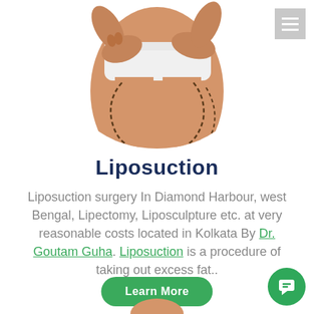[Figure (photo): Medical/cosmetic surgery illustration showing a female torso in white underwear with surgical marking lines drawn on the abdomen and hips, indicating liposuction treatment areas]
Liposuction
Liposuction surgery In Diamond Harbour, west Bengal, Lipectomy, Liposculpture etc. at very reasonable costs located in Kolkata By Dr. Goutam Guha. Liposuction is a procedure of taking out excess fat..
Learn More